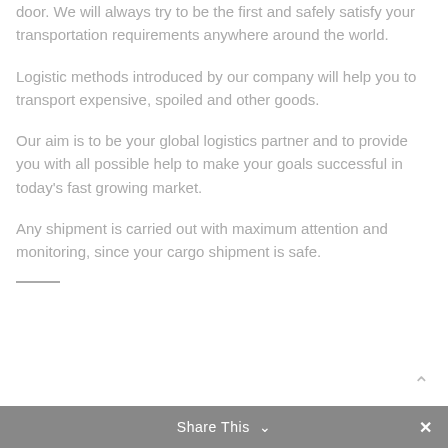door. We will always try to be the first and safely satisfy your transportation requirements anywhere around the world.
Logistic methods introduced by our company will help you to transport expensive, spoiled and other goods.
Our aim is to be your global logistics partner and to provide you with all possible help to make your goals successful in today's fast growing market.
Any shipment is carried out with maximum attention and monitoring, since your cargo shipment is safe.
Share This ∨  ✕